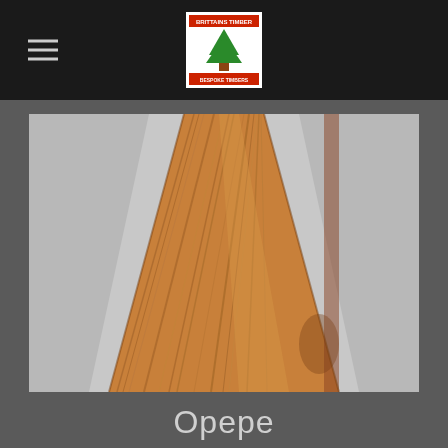[Figure (logo): Tree logo with text for a timber/lumber company, green tree on white background]
[Figure (photo): A long wooden board of Opepe timber photographed from one end, showing the grain and warm brown color, placed on a light grey surface]
Opepe